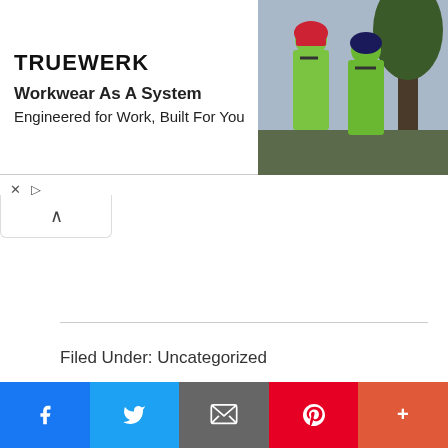[Figure (photo): TRUEWERK advertisement banner with logo, text 'Workwear As A System, Engineered for Work, Built For You', and photo of two workers in green high-visibility gear]
Filed Under: Uncategorized
US, Special Presidential Envoy for Climate John Kerry, Nguyen Van Nen, Ho Chi Minh City, energy transition, climate change, Vietnam, Vietnamplus, Vietnam News…, factors most responsible for significant changes in climate, what significant contribution can individuals make in response to climate change, city planning for climate change, corporations most responsible for climate change, who is responsible for climate change
[Figure (infographic): Social media share bar with Facebook, Twitter, Email, Pinterest, and More (+) buttons]